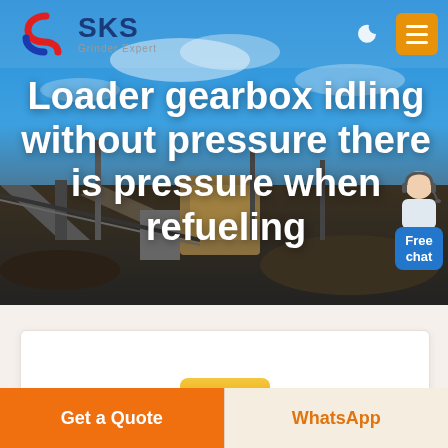[Figure (screenshot): SKS Grinder Expert website header with logo showing red and blue stylized 'G/S' icon, 'SKS' text in dark blue, 'Grinder Expert' subtitle, dark mode moon icon button, and orange hamburger menu button on right]
[Figure (photo): Industrial mining/quarrying facility with conveyor belts, crushers, and machinery under a blue sky with clouds. Large yellow processing equipment visible in center.]
Loader gearbox idling without pressure there is pressure when refueling
[Figure (illustration): Customer service representative avatar with headset, blue speech bubble with 'Free chat' text]
[Figure (screenshot): White content card area with yellow accent element partially visible at bottom]
Get a Quote
WhatsApp